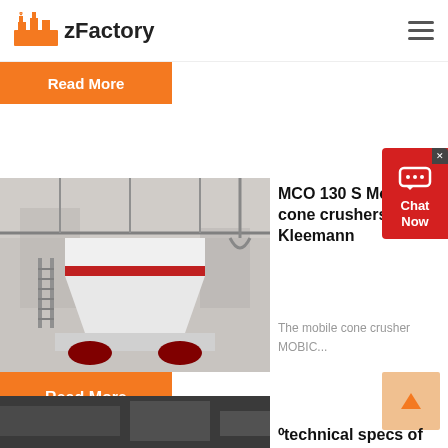zFactory
Read More
MCO 130 S Mobile cone crushers Kleemann
The mobile cone crusher MOBIC...
Read More
[Figure (photo): Large white industrial cone crusher machine in a factory setting]
⁰technical specs of
[Figure (photo): Partial view of dark industrial equipment at the bottom of the page]